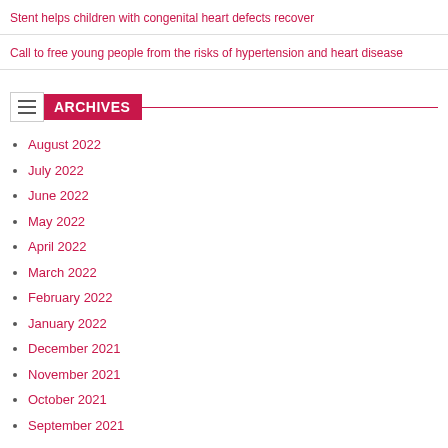Stent helps children with congenital heart defects recover
Call to free young people from the risks of hypertension and heart disease
ARCHIVES
August 2022
July 2022
June 2022
May 2022
April 2022
March 2022
February 2022
January 2022
December 2021
November 2021
October 2021
September 2021